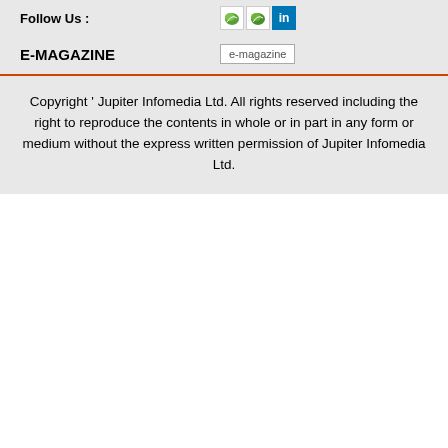Follow Us :
[Figure (logo): Social media icons: two leaf/green icons and LinkedIn blue icon]
E-MAGAZINE
[Figure (logo): e-magazine image placeholder]
Copyright ' Jupiter Infomedia Ltd. All rights reserved including the right to reproduce the contents in whole or in part in any form or medium without the express written permission of Jupiter Infomedia Ltd.